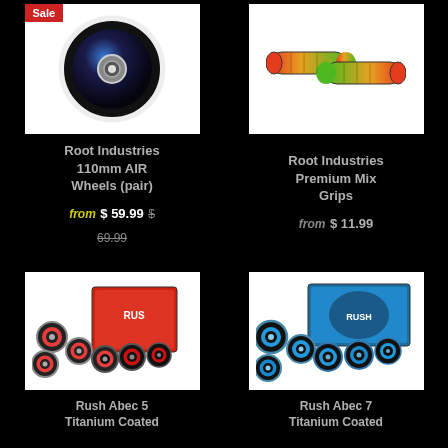[Figure (photo): Root Industries 110mm AIR Wheels (pair) - black and blue scooter wheel with Sale badge]
Root Industries 110mm AIR Wheels (pair)
from $ 59.99 $ 69.99
[Figure (photo): Root Industries Premium Mix Grips - green and red colorful scooter grips]
Root Industries Premium Mix Grips
from $ 11.99
[Figure (photo): Rush Abec 5 Titanium Coated bearings - red bearings with packaging]
Rush Abec 5 Titanium Coated
[Figure (photo): Rush Abec 7 Titanium Coated bearings - blue bearings with packaging]
Rush Abec 7 Titanium Coated